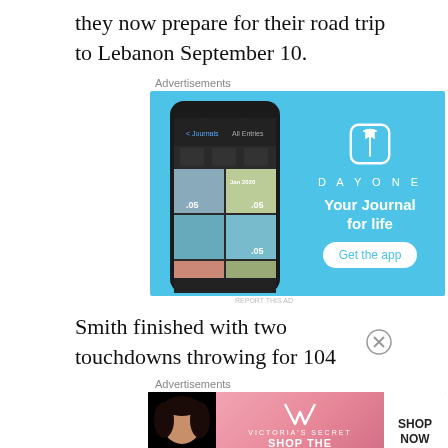they now prepare for their road trip to Lebanon September 10.
Advertisements
[Figure (illustration): Day One app advertisement showing a smartphone with journal photos and the Day One logo, tagline 'Your Journal for life', and a 'Get the app' button on a blue background.]
Smith finished with two touchdowns throwing for 104
Advertisements
[Figure (illustration): Victoria's Secret advertisement showing a model, the Victoria's Secret logo, text 'SHOP THE COLLECTION', and a 'SHOP NOW' button.]